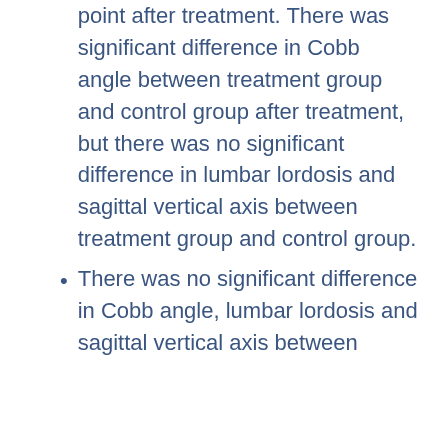point after treatment. There was significant difference in Cobb angle between treatment group and control group after treatment, but there was no significant difference in lumbar lordosis and sagittal vertical axis between treatment group and control group.
There was no significant difference in Cobb angle, lumbar lordosis and sagittal vertical axis between